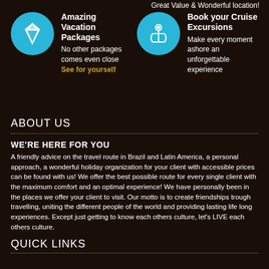Great Value & Wonderful location!
[Figure (infographic): Blue circle with diamond icon next to Amazing Vacation Packages text and description]
[Figure (infographic): Blue circle with anchor icon next to Book your Cruise Excursions text and description]
ABOUT US
WE'RE HERE FOR YOU
A friendly advice on the travel route in Brazil and Latin America, a personal approach, a wonderful holiday organization for your client with accessible prices can be found with us! We offer the best possible route for every single client with the maximum comfort and an optimal experience! We have personally been in the places we offer your client to visit. Our motto is to create friendships trough travelling, uniting the different people of the world and providing lasting life long experiences. Except just getting to know each others culture, let's LIVE each others culture.
QUICK LINKS